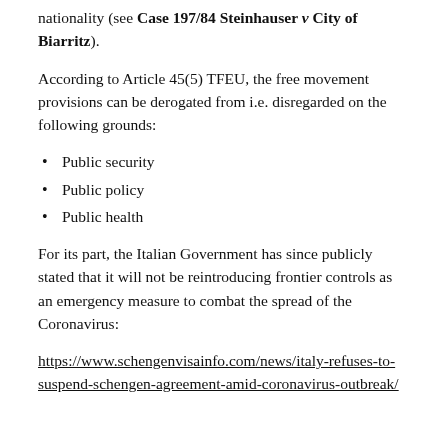nationality (see Case 197/84 Steinhauser v City of Biarritz).
According to Article 45(5) TFEU, the free movement provisions can be derogated from i.e. disregarded on the following grounds:
Public security
Public policy
Public health
For its part, the Italian Government has since publicly stated that it will not be reintroducing frontier controls as an emergency measure to combat the spread of the Coronavirus:
https://www.schengenvisainfo.com/news/italy-refuses-to-suspend-schengen-agreement-amid-coronavirus-outbreak/